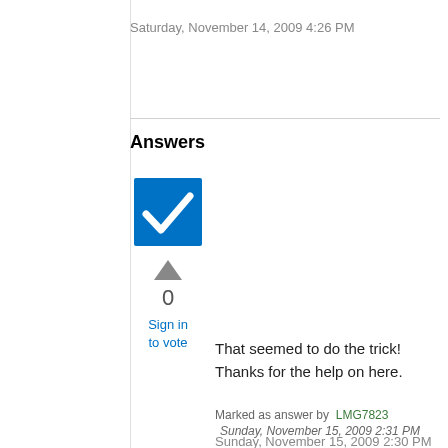Saturday, November 14, 2009 4:26 PM
Answers
[Figure (other): Blue checkbox with white checkmark indicating accepted answer]
[Figure (other): Grey upvote arrow triangle]
0
Sign in to vote
That seemed to do the trick!  Thanks for the help on here.
Marked as answer by  LMG7823
Sunday, November 15, 2009 2:31 PM
Sunday, November 15, 2009 2:30 PM